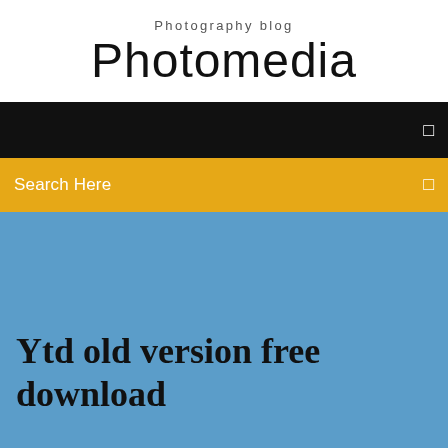Photography blog
Photomedia
[Figure (screenshot): Black navigation bar with a small white square icon on the right side]
[Figure (screenshot): Yellow/gold search bar with 'Search Here' text on the left and a small white square icon on the right]
Ytd old version free download